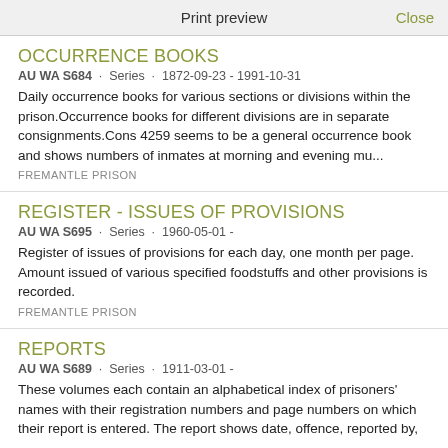Print preview   Close
OCCURRENCE BOOKS
AU WA S684 · Series · 1872-09-23 - 1991-10-31
Daily occurrence books for various sections or divisions within the prison.Occurrence books for different divisions are in separate consignments.Cons 4259 seems to be a general occurrence book and shows numbers of inmates at morning and evening mu...
FREMANTLE PRISON
REGISTER - ISSUES OF PROVISIONS
AU WA S695 · Series · 1960-05-01 -
Register of issues of provisions for each day, one month per page. Amount issued of various specified foodstuffs and other provisions is recorded.
FREMANTLE PRISON
REPORTS
AU WA S689 · Series · 1911-03-01 -
These volumes each contain an alphabetical index of prisoners' names with their registration numbers and page numbers on which their report is entered. The report shows date, offence, reported by,